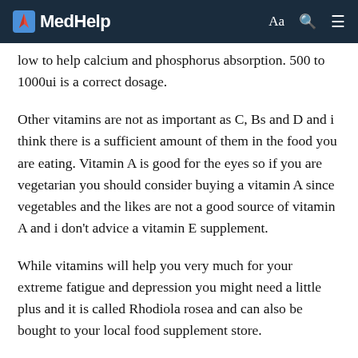MedHelp
low to help calcium and phosphorus absorption. 500 to 1000ui is a correct dosage.
Other vitamins are not as important as C, Bs and D and i think there is a sufficient amount of them in the food you are eating. Vitamin A is good for the eyes so if you are vegetarian you should consider buying a vitamin A since vegetables and the likes are not a good source of vitamin A and i don't advice a vitamin E supplement.
While vitamins will help you very much for your extreme fatigue and depression you might need a little plus and it is called Rhodiola rosea and can also be bought to your local food supplement store.